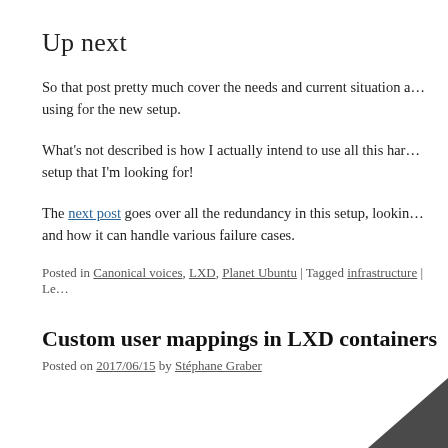Up next
So that post pretty much cover the needs and current situation a… using for the new setup.
What's not described is how I actually intend to use all this har… setup that I'm looking for!
The next post goes over all the redundancy in this setup, lookin… and how it can handle various failure cases.
Posted in Canonical voices, LXD, Planet Ubuntu | Tagged infrastructure | Le…
Custom user mappings in LXD containers
Posted on 2017/06/15 by Stéphane Graber
[Figure (illustration): Dark grey triangle/arrow shape visible at the bottom-right corner of the page]